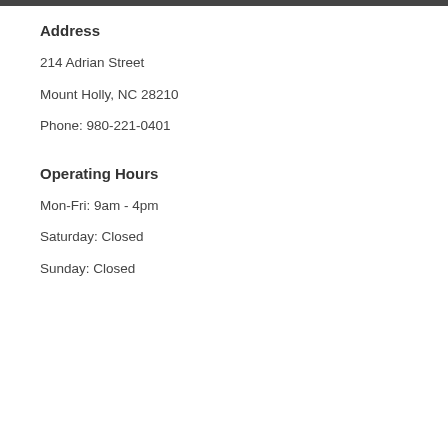Address
214 Adrian Street
Mount Holly, NC 28210
Phone: 980-221-0401
Operating Hours
Mon-Fri: 9am - 4pm
Saturday: Closed
Sunday: Closed